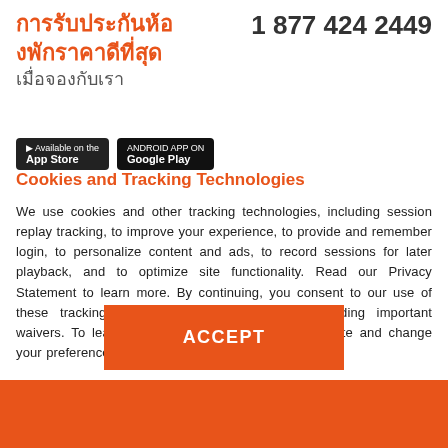การรับประกันห้องพักราคาดีที่สุด เมื่อจองกับเรา
1 877 424 2449
[Figure (screenshot): Two app store download buttons (dark background)]
Cookies and Tracking Technologies
We use cookies and other tracking technologies, including session replay tracking, to improve your experience, to provide and remember login, to personalize content and ads, to record sessions for later playback, and to optimize site functionality. Read our Privacy Statement to learn more. By continuing, you consent to our use of these tracking technologies and our terms including important waivers. To learn more about the trackers on our site and change your preferences, View Settings.
ACCEPT